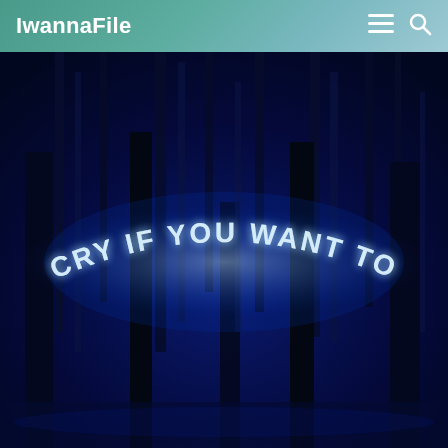IwannaFile
[Figure (photo): Dark nighttime forest scene with tall tree trunks silhouetted against a deep blue background. A glowing neon-style banner reading 'CRY IF YOU WANT TO' hangs in an arc between the trees, emitting a bright blue-white light. The ground has a faint blue glow.]